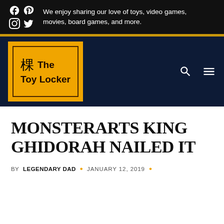We enjoy sharing our love of toys, video games, movies, board games, and more.
[Figure (logo): The Toy Locker logo — orange background with pixel art icon and text 'The Toy Locker' in dark brown]
MONSTERARTS KING GHIDORAH NAILED IT
BY LEGENDARY DAD · JANUARY 12, 2019 ·